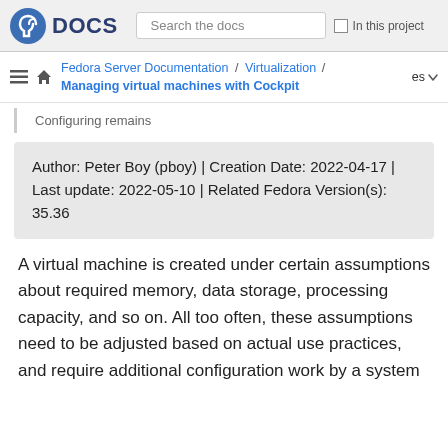Fedora DOCS | Search the docs | In this project
Fedora Server Documentation / Virtualization / Managing virtual machines with Cockpit | es
Configuring remains
Author: Peter Boy (pboy) | Creation Date: 2022-04-17 | Last update: 2022-05-10 | Related Fedora Version(s): 35.36
A virtual machine is created under certain assumptions about required memory, data storage, processing capacity, and so on. All too often, these assumptions need to be adjusted based on actual use practices, and require additional configuration work by a system